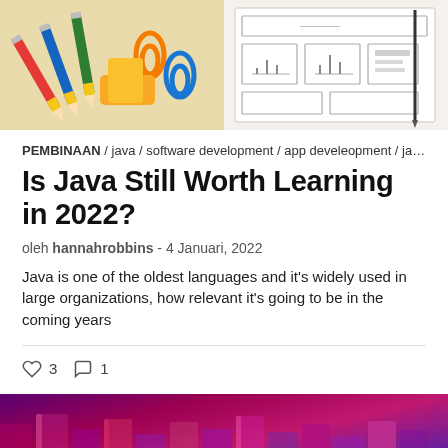[Figure (photo): Top half: left side shows colorful pencils and paper clips on a wooden surface; right side shows a wireframe/mockup sketch on paper with a pencil]
PEMBINAAN / java / software development / app develeopment / java pro...
Is Java Still Worth Learning in 2022?
oleh hannahrobbins - 4 Januari, 2022
Java is one of the oldest languages and it's widely used in large organizations, how relevant it's going to be in the coming years
♡ 3   ○ 1
[Figure (photo): Bottom image showing glowing metallic cylinders/blocks with vibrant purple, pink, magenta and blue neon lighting]